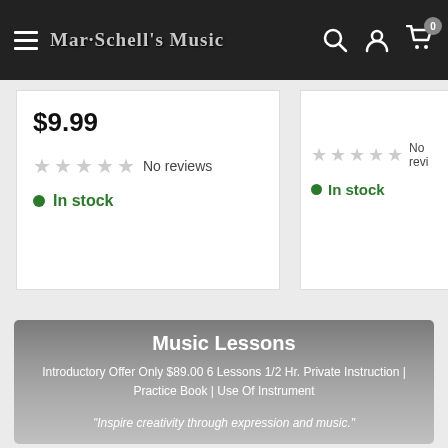Mar-Schell's Music
$9.99
No reviews
In stock
No revi...
In stock
Music Lessons
Introductory Offer Only $89.00 6 Lessons 1/2 Hr. Private Instruction | Practice Book | Use Of Instrument
"Inspire creativity through expression and music."